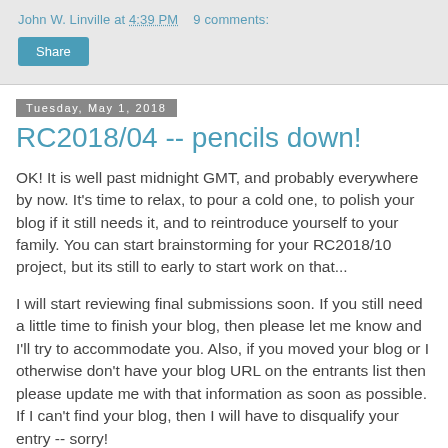John W. Linville at 4:39 PM   9 comments:
Share
Tuesday, May 1, 2018
RC2018/04 -- pencils down!
OK! It is well past midnight GMT, and probably everywhere by now. It's time to relax, to pour a cold one, to polish your blog if it still needs it, and to reintroduce yourself to your family. You can start brainstorming for your RC2018/10 project, but its still to early to start work on that...
I will start reviewing final submissions soon. If you still need a little time to finish your blog, then please let me know and I'll try to accommodate you. Also, if you moved your blog or I otherwise don't have your blog URL on the entrants list then please update me with that information as soon as possible. If I can't find your blog, then I will have to disqualify your entry -- sorry!